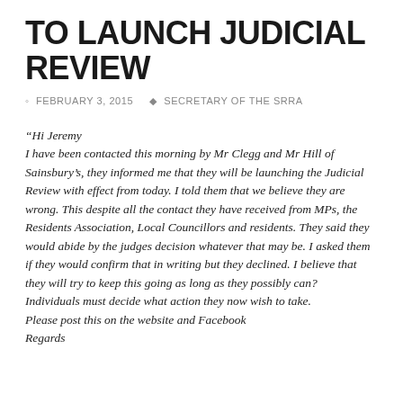TO LAUNCH JUDICIAL REVIEW
FEBRUARY 3, 2015  SECRETARY OF THE SRRA
“Hi Jeremy I have been contacted this morning by Mr Clegg and Mr Hill of Sainsbury’s, they informed me that they will be launching the Judicial Review with effect from today. I told them that we believe they are wrong. This despite all the contact they have received from MPs, the Residents Association, Local Councillors and residents. They said they would abide by the judges decision whatever that may be. I asked them if they would confirm that in writing but they declined. I believe that they will try to keep this going as long as they possibly can? Individuals must decide what action they now wish to take. Please post this on the website and Facebook Regards